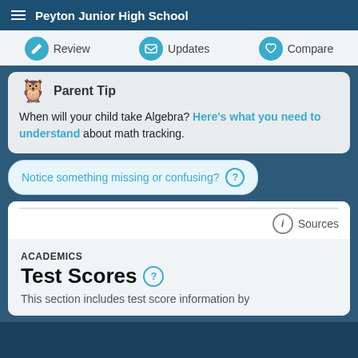Peyton Junior High School
Review | Updates | Compare
Parent Tip
When will your child take Algebra? Here's what you need to understand about math tracking.
Notice something missing or confusing?
Sources
ACADEMICS
Test Scores
This section includes test score information by